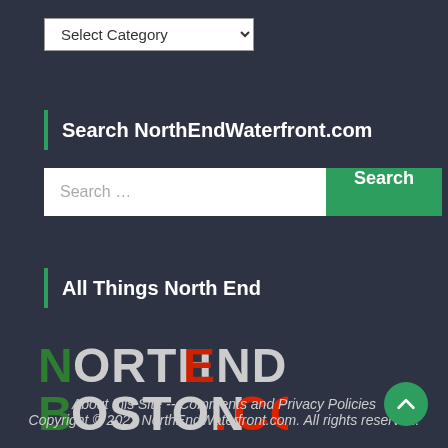[Figure (screenshot): Dropdown select element with 'Select Category' placeholder]
Search NorthEndWaterfront.com
[Figure (screenshot): Search bar with placeholder 'Search ...' and a green 'Search' button]
All Things North End
[Figure (logo): North End Boston .com logo in green, white and red stylized text]
About this Site -- Comments and Privacy Policies
Copyright © 2022 NorthEndWaterfront.com. All rights reserved.